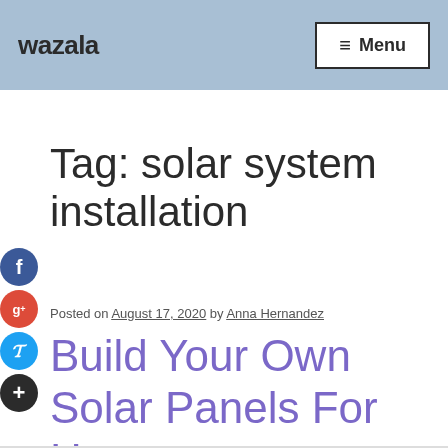wazala   ≡ Menu
Tag: solar system installation
Posted on August 17, 2020 by Anna Hernandez
Build Your Own Solar Panels For Home